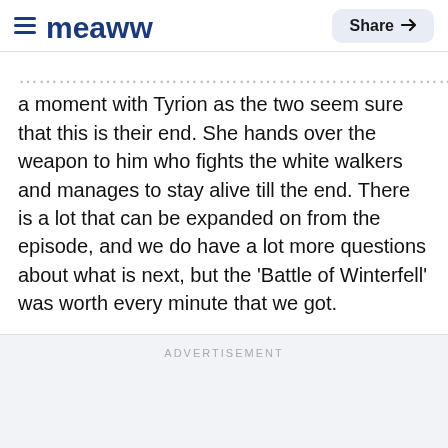Meaww | Share
a moment with Tyrion as the two seem sure that this is their end. She hands over the weapon to him who fights the white walkers and manages to stay alive till the end. There is a lot that can be expanded on from the episode, and we do have a lot more questions about what is next, but the 'Battle of Winterfell' was worth every minute that we got.
ADVERTISEMENT
[Figure (screenshot): Ad banner for BitLife - Life Simulator by Candywriter, LLC with app screenshot showing red background with game UI elements and emoji.]